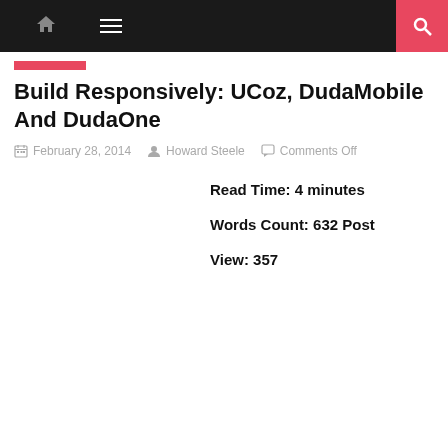Navigation bar with home icon, menu icon, and search button
Build Responsively: UCoz, DudaMobile And DudaOne
February 28, 2014   Howard Steele   Comments Off
Read Time: 4 minutes
Words Count: 632 Post
View: 357